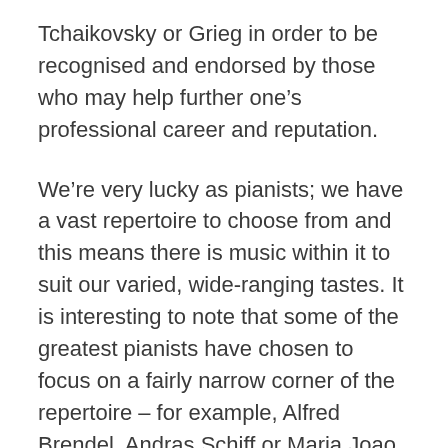Tchaikovsky or Grieg in order to be recognised and endorsed by those who may help further one's professional career and reputation.
We're very lucky as pianists; we have a vast repertoire to choose from and this means there is music within it to suit our varied, wide-ranging tastes. It is interesting to note that some of the greatest pianists have chosen to focus on a fairly narrow corner of the repertoire – for example, Alfred Brendel, Andras Schiff or Maria Joao Pires. It really isn't necessary to have an affinity with or be able to play everything, though of course there are